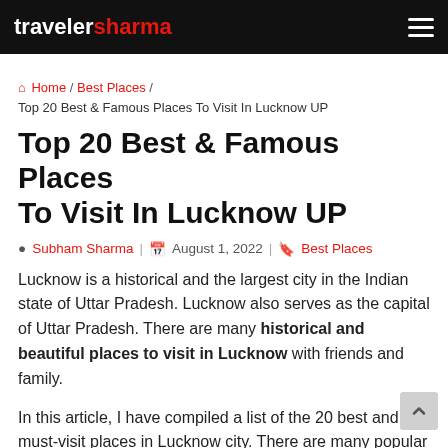travelersharma
Home / Best Places / Top 20 Best & Famous Places To Visit In Lucknow UP
Top 20 Best & Famous Places To Visit In Lucknow UP
Subham Sharma | August 1, 2022 | Best Places
Lucknow is a historical and the largest city in the Indian state of Uttar Pradesh. Lucknow also serves as the capital of Uttar Pradesh. There are many historical and beautiful places to visit in Lucknow with friends and family.
In this article, I have compiled a list of the 20 best and must-visit places in Lucknow city. There are many popular and famous tourist places to visit in Lucknow, Uttar Pradesh.